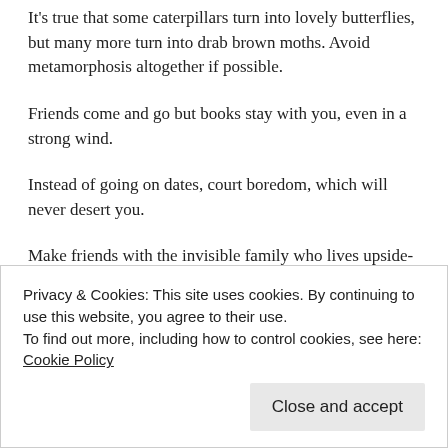It's true that some caterpillars turn into lovely butterflies, but many more turn into drab brown moths. Avoid metamorphosis altogether if possible.
Friends come and go but books stay with you, even in a strong wind.
Instead of going on dates, court boredom, which will never desert you.
Make friends with the invisible family who lives upside-
Privacy & Cookies: This site uses cookies. By continuing to use this website, you agree to their use.
To find out more, including how to control cookies, see here: Cookie Policy
you are growing old.